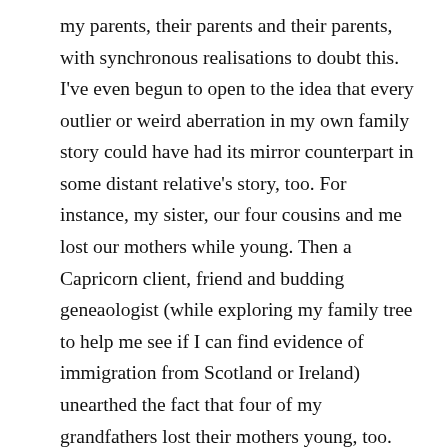my parents, their parents and their parents, with synchronous realisations to doubt this. I've even begun to open to the idea that every outlier or weird aberration in my own family story could have had its mirror counterpart in some distant relative's story, too. For instance, my sister, our four cousins and me lost our mothers while young. Then a Capricorn client, friend and budding geneaologist (while exploring my family tree to help me see if I can find evidence of immigration from Scotland or Ireland) unearthed the fact that four of my grandfathers lost their mothers young, too. With Pluto in Capricorn currently squaring my Aries Moon, she opened a long-closed door I